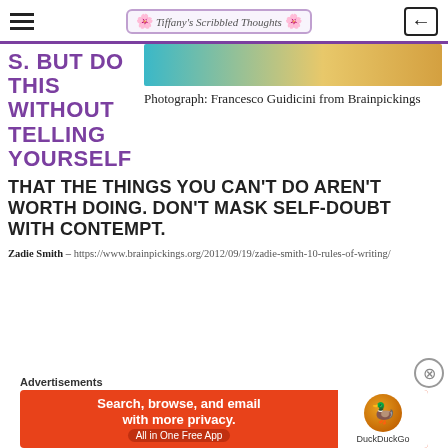Tiffany's Scribbled Thoughts
S. BUT DO THIS WITHOUT TELLING YOURSELF
Photograph: Francesco Guidicini from Brainpickings
THAT THE THINGS YOU CAN'T DO AREN'T WORTH DOING. DON'T MASK SELF-DOUBT WITH CONTEMPT.
Zadie Smith – https://www.brainpickings.org/2012/09/19/zadie-smith-10-rules-of-writing/
Advertisements
[Figure (screenshot): DuckDuckGo advertisement banner: Search, browse, and email with more privacy. All in One Free App.]